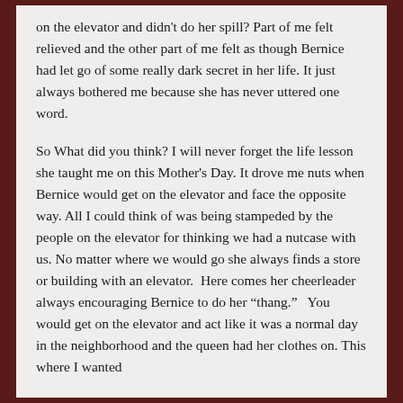on the elevator and didn't do her spill? Part of me felt relieved and the other part of me felt as though Bernice had let go of some really dark secret in her life. It just always bothered me because she has never uttered one word.
So What did you think? I will never forget the life lesson she taught me on this Mother's Day. It drove me nuts when Bernice would get on the elevator and face the opposite way. All I could think of was being stampeded by the people on the elevator for thinking we had a nutcase with us. No matter where we would go she always finds a store or building with an elevator.  Here comes her cheerleader always encouraging Bernice to do her “thang.”   You would get on the elevator and act like it was a normal day in the neighborhood and the queen had her clothes on. This where I wanted